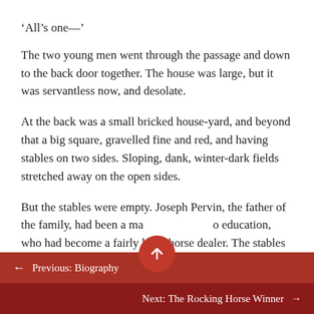‘All’s one—’
The two young men went through the passage and down to the back door together. The house was large, but it was servantless now, and desolate.
At the back was a small bricked house-yard, and beyond that a big square, gravelled fine and red, and having stables on two sides. Sloping, dank, winter-dark fields stretched away on the open sides.
But the stables were empty. Joseph Pervin, the father of the family, had been a man of no education, who had become a fairly large horse dealer. The stables had been
← Previous: Biography
Next: The Rocking Horse Winner →